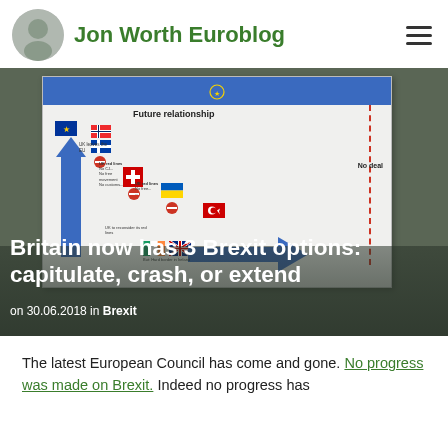Jon Worth Euroblog
[Figure (photo): Photograph of a printed Brexit flowchart infographic showing 'Future relationship' options, with EU and other country flags, arrows, red lines, and 'No deal' label on the right side. Text overlaid: 'Britain now has 3 Brexit options: capitulate, crash, or extend' and date/category 'on 30.06.2018 in Brexit'.]
The latest European Council has come and gone. No progress was made on Brexit. Indeed no progress has